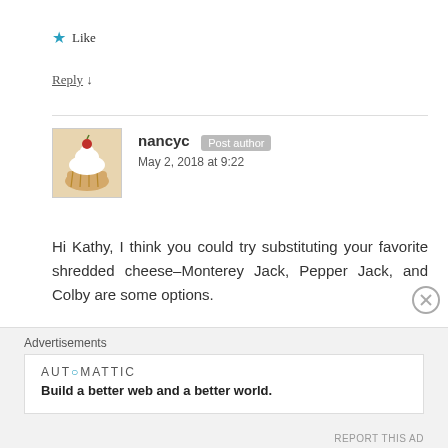★ Like
Reply ↓
nancyc Post author May 2, 2018 at 9:22
[Figure (photo): Avatar image of a cupcake with white frosting and a cherry on top]
Hi Kathy, I think you could try substituting your favorite shredded cheese–Monterey Jack, Pepper Jack, and Colby are some options.
★ Like
Advertisements
AUTOMATTIC Build a better web and a better world.
REPORT THIS AD